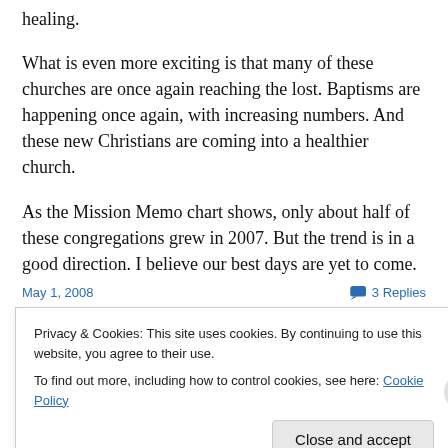healing.
What is even more exciting is that many of these churches are once again reaching the lost. Baptisms are happening once again, with increasing numbers. And these new Christians are coming into a healthier church.
As the Mission Memo chart shows, only about half of these congregations grew in 2007. But the trend is in a good direction. I believe our best days are yet to come.
May 1, 2008   3 Replies
Privacy & Cookies: This site uses cookies. By continuing to use this website, you agree to their use. To find out more, including how to control cookies, see here: Cookie Policy